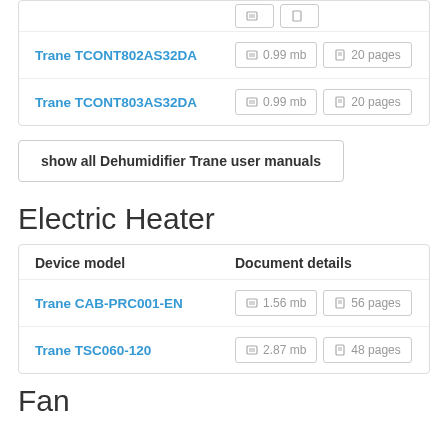| Device model | Document details |
| --- | --- |
| Trane TCONT802AS32DA | 0.99 mb | 20 pages |
| Trane TCONT803AS32DA | 0.99 mb | 20 pages |
show all Dehumidifier Trane user manuals
Electric Heater
| Device model | Document details |
| --- | --- |
| Trane CAB-PRC001-EN | 1.56 mb | 56 pages |
| Trane TSC060-120 | 2.87 mb | 48 pages |
Fan